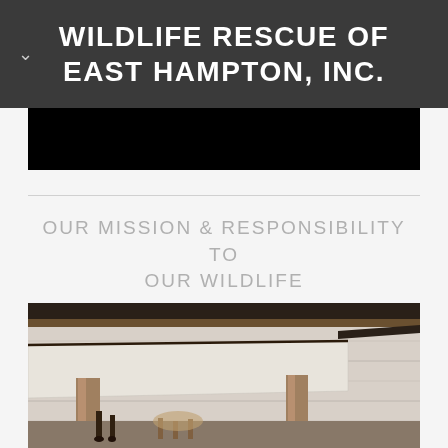WILDLIFE RESCUE OF EAST HAMPTON, INC.
OUR MISSION & RESPONSIBILITY TO OUR WILDLIFE
[Figure (photo): Photograph of a wooden structure with planks, showing what appears to be a wildlife enclosure or shelter with animal legs visible at the bottom.]